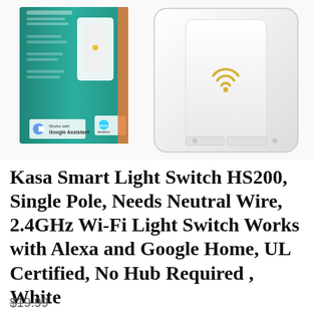[Figure (photo): Product photo showing a Kasa Smart Light Switch HS200 — a white wall switch plate with a Wi-Fi symbol, alongside its teal/green retail packaging box.]
Kasa Smart Light Switch HS200, Single Pole, Needs Neutral Wire, 2.4GHz Wi-Fi Light Switch Works with Alexa and Google Home, UL Certified, No Hub Required , White
$19.99